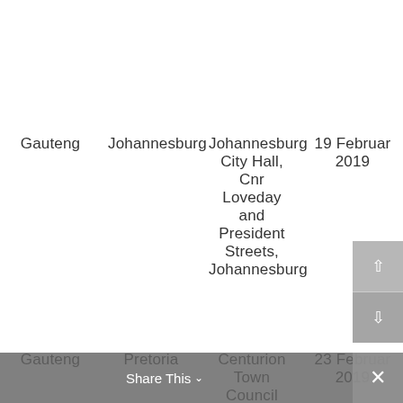| Province | City | Venue | Date |
| --- | --- | --- | --- |
| Gauteng | Johannesburg | Johannesburg City Hall, Cnr Loveday and President Streets, Johannesburg | 19 February 2019 |
| Gauteng | Pretoria | Centurion Town Council Building, Block A Council... | 23 February 2019 |